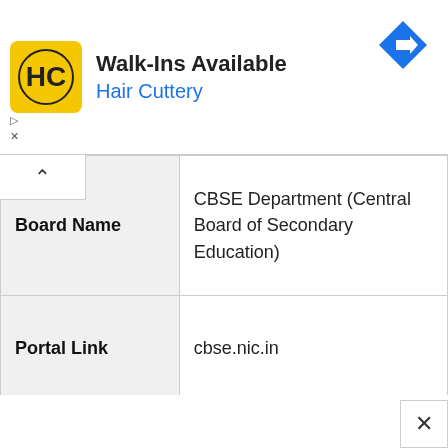[Figure (other): Advertisement banner for Hair Cuttery showing logo, 'Walk-Ins Available' text, and a blue navigation icon]
| Board Name | CBSE Department (Central Board of Secondary Education) |
| Portal Link | cbse.nic.in |
| Category | CBSE Private Online Application Form 2022-23 for Class X and Class XII Exam |